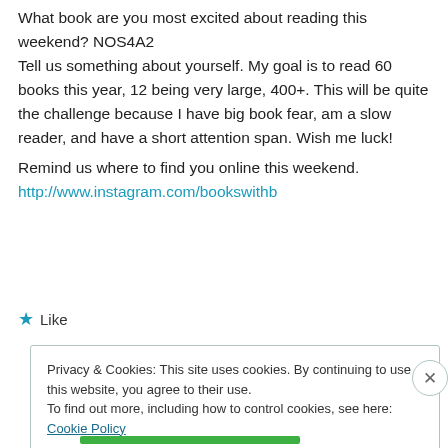What book are you most excited about reading this weekend? NOS4A2
Tell us something about yourself. My goal is to read 60 books this year, 12 being very large, 400+. This will be quite the challenge because I have big book fear, am a slow reader, and have a short attention span. Wish me luck!
Remind us where to find you online this weekend. http://www.instagram.com/bookswithb
★ Like
Privacy & Cookies: This site uses cookies. By continuing to use this website, you agree to their use. To find out more, including how to control cookies, see here: Cookie Policy
Close and accept